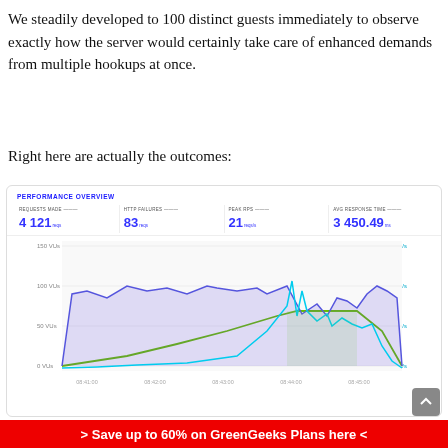We steadily developed to 100 distinct guests immediately to observe exactly how the server would certainly take care of enhanced demands from multiple hookups at once.
Right here are actually the outcomes:
[Figure (line-chart): Performance overview dashboard showing metrics: Requests Made 4121 reqs, HTTP Failures 83 reqs, Peak RPS 21 reqs/s, Avg Response Time 3450.49 ms. Line chart with VUs (0-150) on left y-axis and reqs/s (0-30) on right y-axis, time axis from 08:41:00 to 08:46:00. Purple/blue area line for VUs, green line for VU ramp, cyan line for requests per second.]
> Save up to 60% on GreenGeeks Plans here <